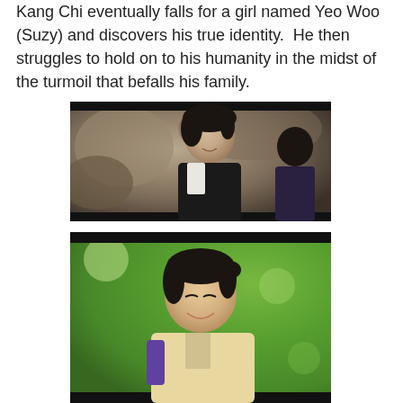Kang Chi eventually falls for a girl named Yeo Woo (Suzy) and discovers his true identity.  He then struggles to hold on to his humanity in the midst of the turmoil that befalls his family.
[Figure (photo): Scene from a Korean drama showing a young man with dark hair in traditional Korean clothing, smiling, facing another person whose back is to the camera, with a rocky outdoor background.]
[Figure (photo): Scene from a Korean drama showing a young woman with dark hair pulled back, smiling, wearing traditional Korean clothing, with a green outdoor background.]